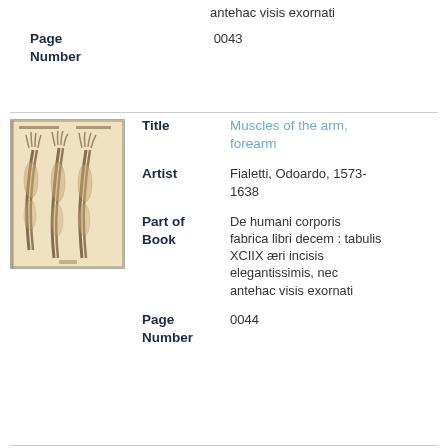antehac visis exornati
Page Number
0043
[Figure (illustration): Anatomical illustration from a book showing muscles of the arm and forearm, sepia-toned engraving]
Title: Muscles of the arm, forearm
Artist: Fialetti, Odoardo, 1573-1638
Part of Book: De humani corporis fabrica libri decem : tabulis XCIIX æri incisis elegantissimis, nec antehac visis exornati
Page Number
0044